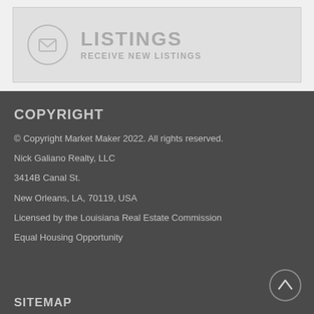[Figure (infographic): Banner with envelope icon circle and 'LISTINGS / RECEIVE NEW LISTINGS' text in light gray]
COPYRIGHT
© Copyright Market Maker 2022. All rights reserved.
Nick Galiano Realty, LLC
3414B Canal St.
New Orleans, LA, 70119, USA
Licensed by the Louisiana Real Estate Commission
Equal Housing Opportunity
SITEMAP